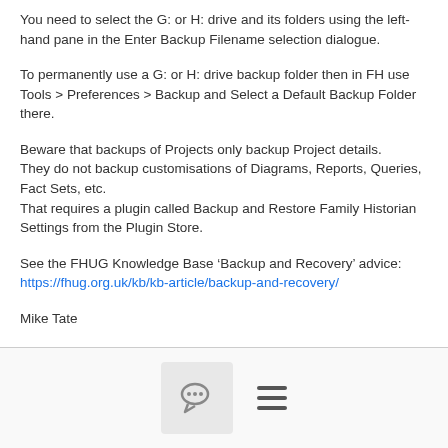You need to select the G: or H: drive and its folders using the left-hand pane in the Enter Backup Filename selection dialogue.
To permanently use a G: or H: drive backup folder then in FH use Tools > Preferences > Backup and Select a Default Backup Folder there.
Beware that backups of Projects only backup Project details.
They do not backup customisations of Diagrams, Reports, Queries, Fact Sets, etc.
That requires a plugin called Backup and Restore Family Historian Settings from the Plugin Store.
See the FHUG Knowledge Base ‘Backup and Recovery’ advice:
https://fhug.org.uk/kb/kb-article/backup-and-recovery/
Mike Tate
[Figure (other): Page footer with comment bubble icon and hamburger menu icon]